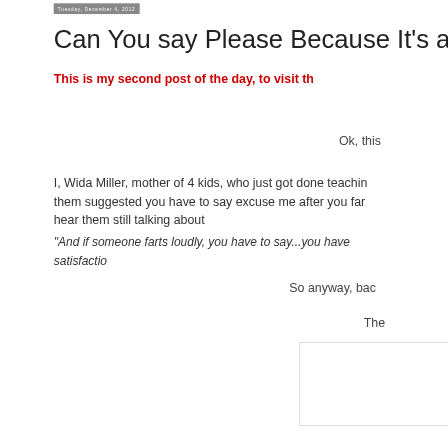Tuesday, December 4, 2012
Can You say Please Because It's a BIG D...
This is my second post of the day, to visit th...
Ok, this...
I, Wida Miller, mother of 4 kids, who just got done teachin... them suggested you have to say excuse me after you far... hear them still talking about...
"And if someone farts loudly, you have to say...you have... satisfactio...
So anyway, bac...
The...
[Figure (other): Partial box/frame visible at bottom right corner of page]